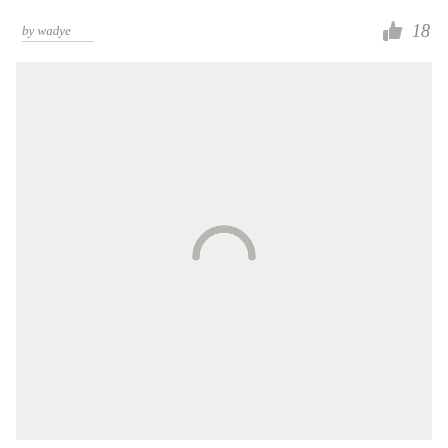by wadye
18
[Figure (other): Large light gray content area with a gray loading spinner icon (arc/horseshoe shape) centered in the box, indicating content is loading.]